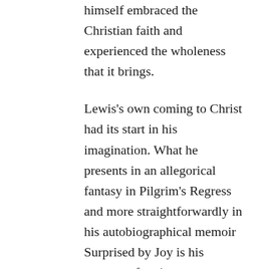himself embraced the Christian faith and experienced the wholeness that it brings.

Lewis's own coming to Christ had its start in his imagination. What he presents in an allegorical fantasy in Pilgrim's Regress and more straightforwardly in his autobiographical memoir Surprised by Joy is his account of various experiences of ineffable longing. These were moments of transcendence, glimpses of something beyond this life, which he felt as a mingling of joy and an almost painful yearning. As he recounts in Surprised by Joy, different things would bring on these feelings, but they were almost always works of the imagination: